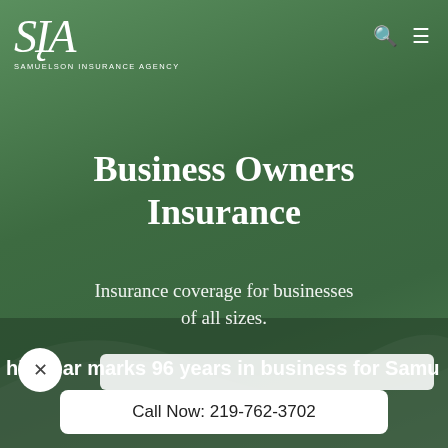[Figure (logo): SIA Samuelson Insurance Agency logo in white italic serif font on green background]
Business Owners Insurance
Insurance coverage for businesses of all sizes.
his year marks 96 years in business for Samu
Call Now: 219-762-3702